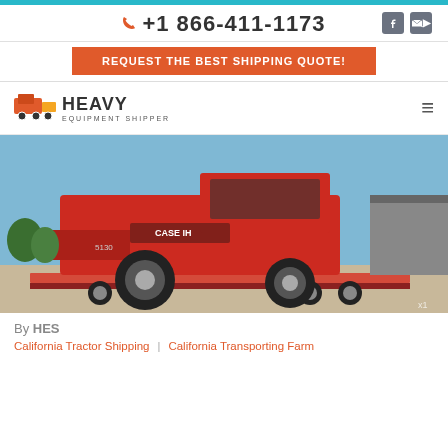+1 866-411-1173
REQUEST THE BEST SHIPPING QUOTE!
[Figure (logo): Heavy Equipment Shipper logo with red truck icon and bold text reading HEAVY EQUIPMENT SHIPPER]
[Figure (photo): A large red Case IH 6130 combine harvester loaded on a flatbed trailer in a shipping yard]
By HES
California Tractor Shipping | California Transporting Farm